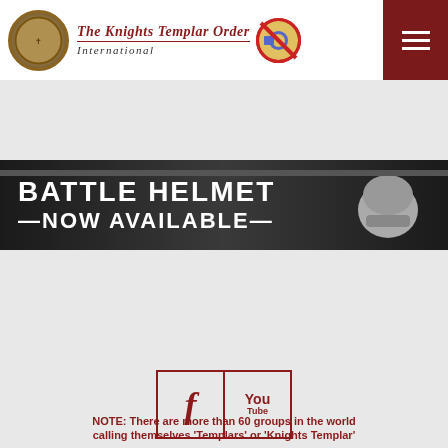The Knights Templar Order International
[Figure (screenshot): Banner showing BATTLE HELMET —NOW AVAILABLE— text on dark background]
[Figure (infographic): Social media icons for Facebook and YouTube in bordered boxes]
[Figure (infographic): Green SSL Secured badge with lock icon]
[Figure (logo): The Knights Templar Order International logo with seal and anti-masonic symbol]
[Figure (infographic): Social media circle icons: Facebook, Twitter, Google+, Email, and bell notification]
NOTE: There are more than 60 groups in the world calling themselves 'Templars' or 'Knights Templar'